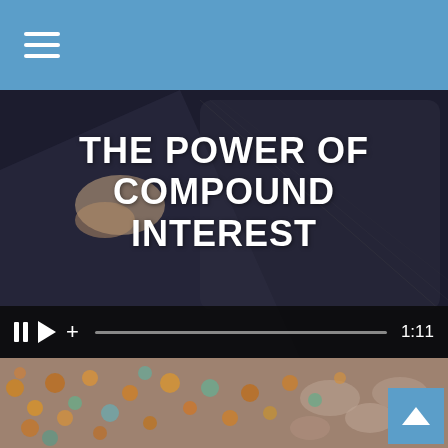Navigation menu
[Figure (screenshot): Video thumbnail showing 'THE POWER OF COMPOUND INTEREST' title overlay on dark background with a hand and tablet device, with video player controls at bottom showing pause, play, plus icons, progress bar, and time 1:11]
The Power of Compound Interest
Learn how to harness the power of compound interest for your investments.
[Figure (photo): Bottom strip showing scattered coins on a surface, with a blue back-to-top button (chevron up arrow) in the bottom right corner]